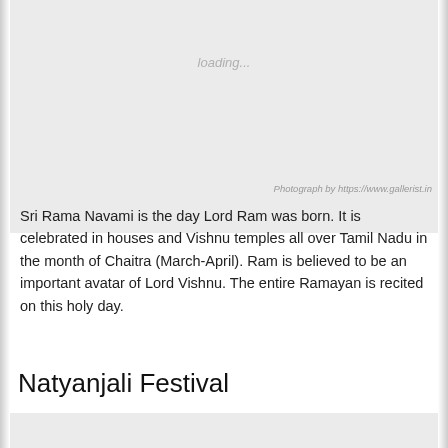[Figure (photo): Loading placeholder image for Sri Rama Navami, shown as light gray rectangle with 'loading...' text]
Photograph by https://www.gallerist.in
Sri Rama Navami is the day Lord Ram was born. It is celebrated in houses and Vishnu temples all over Tamil Nadu in the month of Chaitra (March-April). Ram is believed to be an important avatar of Lord Vishnu. The entire Ramayan is recited on this holy day.
Natyanjali Festival
[Figure (photo): Loading placeholder image for Natyanjali Festival, shown as light gray rectangle]